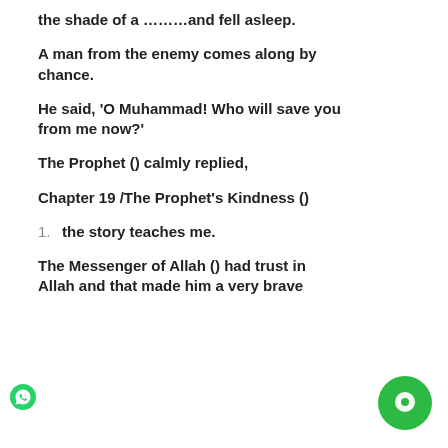the shade of a ………and fell asleep.
A man from the enemy comes along by chance.
He said, 'O Muhammad! Who will save you from me now?'
The Prophet () calmly replied,
Chapter 19 /The Prophet's Kindness ()
1. the story teaches me.
The Messenger of Allah () had trust in Allah and that made him a very brave